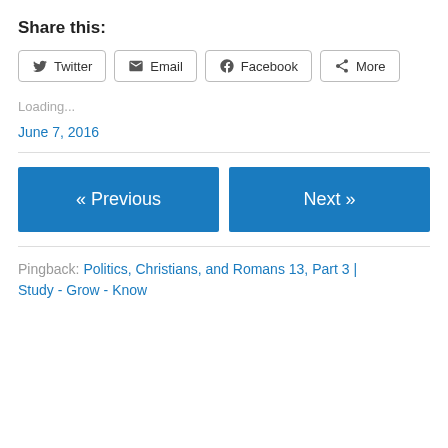Share this:
Twitter  Email  Facebook  More
Loading...
June 7, 2016
« Previous   Next »
Pingback: Politics, Christians, and Romans 13, Part 3 | Study - Grow - Know